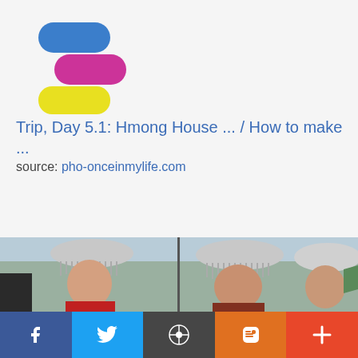[Figure (logo): Three overlapping pill/capsule shapes stacked diagonally: top blue, middle magenta/pink, bottom yellow]
Trip, Day 5.1: Hmong House ... / How to make ...
source: pho-onceinmylife.com
[Figure (photo): Young women wearing traditional Hmong silver headdresses with dangling ornaments, dressed in colorful traditional clothing at an outdoor event]
[Figure (infographic): Social sharing bottom bar with Facebook, Twitter, WordPress, Blogger, and plus (+) buttons]